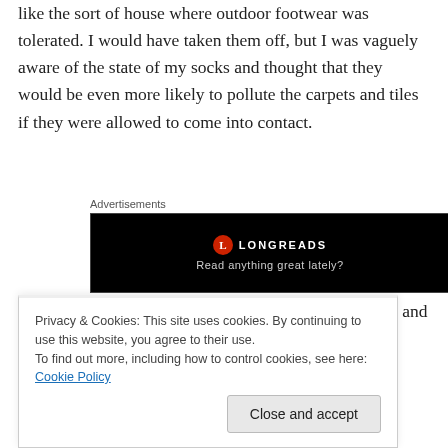like the sort of house where outdoor footwear was tolerated. I would have taken them off, but I was vaguely aware of the state of my socks and thought that they would be even more likely to pollute the carpets and tiles if they were allowed to come into contact.
Advertisements
[Figure (other): Longreads advertisement banner on black background with logo and text 'Read anything great lately?']
The situation wasn't great. I had never met Jon before, and had only gathered by inference that he was even
Privacy & Cookies: This site uses cookies. By continuing to use this website, you agree to their use. To find out more, including how to control cookies, see here: Cookie Policy
name.